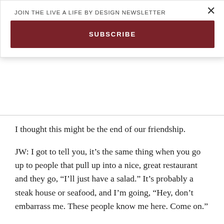JOIN THE LIVE A LIFE BY DESIGN NEWSLETTER
SUBSCRIBE
I thought this might be the end of our friendship.
JW: I got to tell you, it’s the same thing when you go up to people that pull up into a nice, great restaurant and they go, “I’ll just have a salad.” It’s probably a steak house or seafood, and I’m going, “Hey, don’t embarrass me. These people know me here. Come on.”
LF: One of our local restaurants absolutely has the best salads. I frequent it often and I don’t have to order. I just walk in and they know what I’m there for.